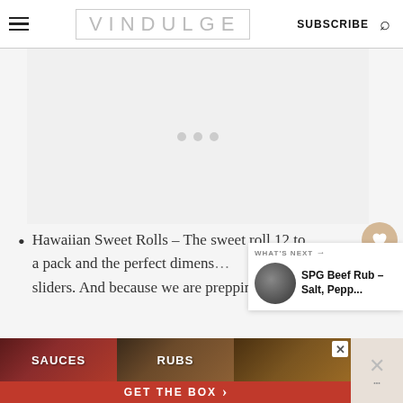VINDULGE | SUBSCRIBE
[Figure (other): Advertisement placeholder area with three loading dots]
Hawaiian Sweet Rolls – The sweet roll 12 to a pack and the perfect dimensions sliders. And because we are prepping the beef
[Figure (photo): What's Next panel showing SPG Beef Rub – Salt, Pepp... with circular thumbnail photo]
[Figure (other): Bottom advertisement banner with SAUCES, RUBS sections and GET THE BOX call to action in red]